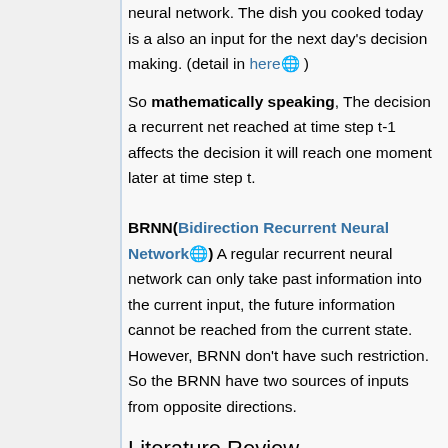neural network. The dish you cooked today is a also an input for the next day's decision making. (detail in here )
So mathematically speaking, The decision a recurrent net reached at time step t-1 affects the decision it will reach one moment later at time step t.
BRNN(Bidirection Recurrent Neural Network) A regular recurrent neural network can only take past information into the current input, the future information cannot be reached from the current state. However, BRNN don't have such restriction. So the BRNN have two sources of inputs from opposite directions.
Literature Review